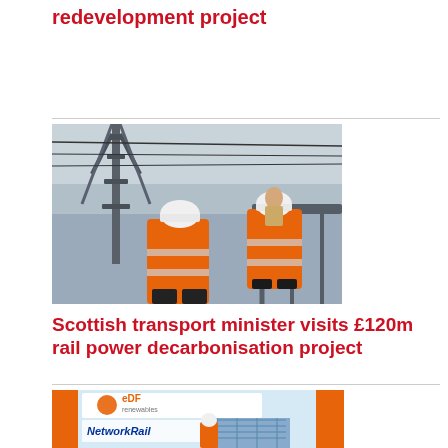redevelopment project
[Figure (photo): Two workers in orange hi-vis jackets and white hard hats standing near a large steel overhead rail electrification structure, against a cloudy sky.]
Scottish transport minister visits £120m rail power decarbonisation project
[Figure (photo): Composite image with EDF Renewables and Network Rail logos, showing a worker in orange hi-vis examining solar panels.]